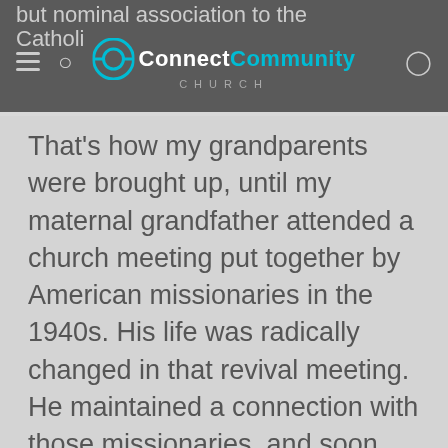but nominal association to the Catholic [ConnectCommunity Church logo]
That's how my grandparents were brought up, until my maternal grandfather attended a church meeting put together by American missionaries in the 1940s. His life was radically changed in that revival meeting. He maintained a connection with those missionaries, and soon after answered the call of God to become a minister. When my dad was a young boy, his whole family came to know Christ through my grandfather's